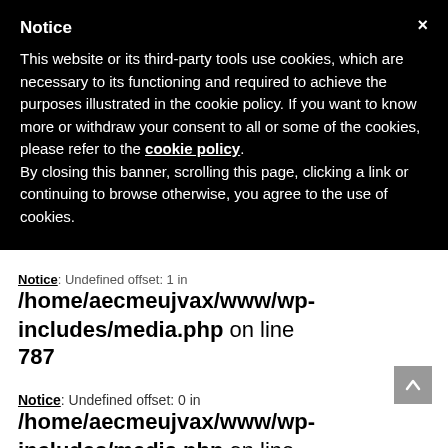Notice
This website or its third-party tools use cookies, which are necessary to its functioning and required to achieve the purposes illustrated in the cookie policy. If you want to know more or withdraw your consent to all or some of the cookies, please refer to the cookie policy. By closing this banner, scrolling this page, clicking a link or continuing to browse otherwise, you agree to the use of cookies.
Notice: Undefined offset: 1 in /home/aecmeujvax/www/wp-includes/media.php on line 787
Notice: Undefined offset: 0 in /home/aecmeujvax/www/wp-includes/media.php on line 790
Notice: Undefined offset: 1 in